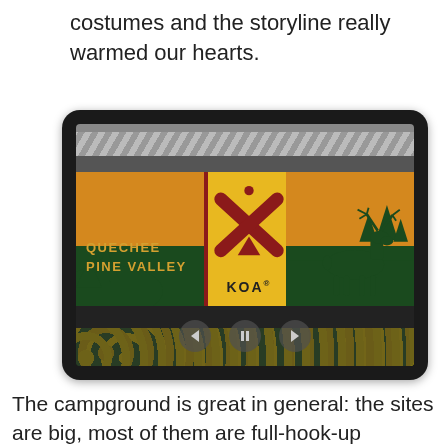costumes and the storyline really warmed our hearts.
[Figure (photo): Photo of a KOA campground sign reading 'Quechee Pine Valley KOA' on a wooden background with orange/yellow panels, moose silhouette on the right, trees on the left, and yellow flowers in the foreground. Image has navigation arrows overlay.]
The campground is great in general: the sites are big, most of them are full-hook-up including a fire ring and a picknick-table. There is a heated pool